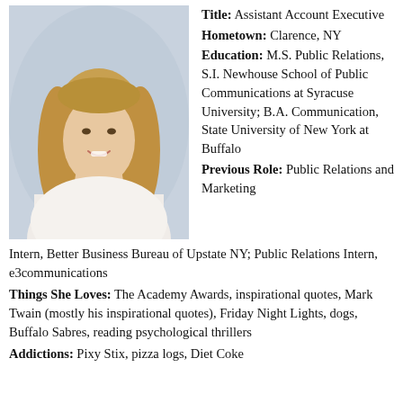[Figure (photo): Professional headshot of a young woman with long blonde/brown hair, wearing a white top, smiling, light blue-grey background]
Title: Assistant Account Executive
Hometown: Clarence, NY
Education: M.S. Public Relations, S.I. Newhouse School of Public Communications at Syracuse University; B.A. Communication, State University of New York at Buffalo
Previous Role: Public Relations and Marketing Intern, Better Business Bureau of Upstate NY; Public Relations Intern, e3communications
Things She Loves: The Academy Awards, inspirational quotes, Mark Twain (mostly his inspirational quotes), Friday Night Lights, dogs, Buffalo Sabres, reading psychological thrillers
Addictions: Pixy Stix, pizza logs, Diet Coke